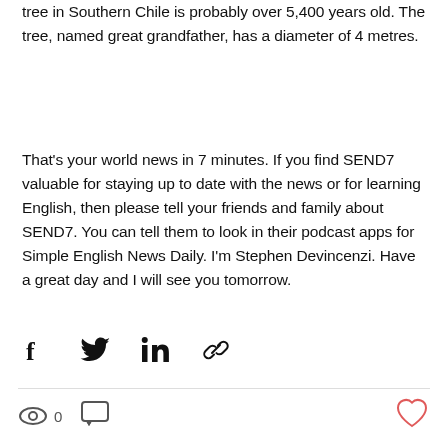tree in Southern Chile is probably over 5,400 years old. The tree, named great grandfather, has a diameter of 4 metres.
That's your world news in 7 minutes. If you find SEND7 valuable for staying up to date with the news or for learning English, then please tell your friends and family about SEND7. You can tell them to look in their podcast apps for Simple English News Daily. I'm Stephen Devincenzi. Have a great day and I will see you tomorrow.
[Figure (infographic): Social share icons: Facebook, Twitter, LinkedIn, and a link/chain icon]
[Figure (infographic): Stats bar with an eye (views) icon showing 0 views, a comment bubble icon, and a heart (like) icon in red/pink on the right]